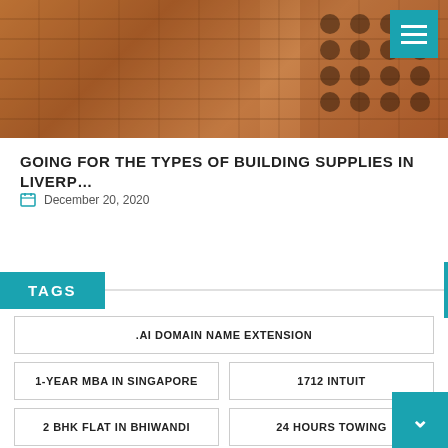[Figure (photo): Photo of brick building materials/supplies — red bricks and hollow clay brick tubes stacked together]
GOING FOR THE TYPES OF BUILDING SUPPLIES IN LIVERP…
December 20, 2020
TAGS
.AI DOMAIN NAME EXTENSION
1-YEAR MBA IN SINGAPORE
1712 INTUIT
2 BHK FLAT IN BHIWANDI
24 HOURS TOWING
24/7 TOWING NEAR ME
3 SEATER WOODEN SOFA